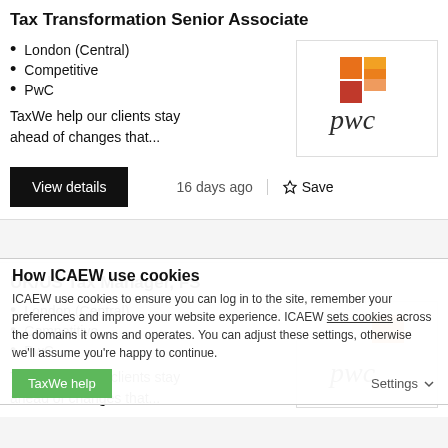Tax Transformation Senior Associate
London (Central)
Competitive
PwC
[Figure (logo): PwC logo with orange/red stacked squares and italic pwc text]
TaxWe help our clients stay ahead of changes that...
View details
16 days ago
Save
UK/US Tax Manager, FS
How ICAEW use cookies
London (Central)
Competitive
PwC
[Figure (logo): PwC logo (partial, orange overlay)]
ICAEW use cookies to ensure you can log in to the site, remember your preferences and improve your website experience. ICAEW sets cookies across the domains it owns and operates. You can adjust these settings, otherwise we'll assume you're happy to continue.
TaxWe help our clients stay ahead of changes that...
Settings